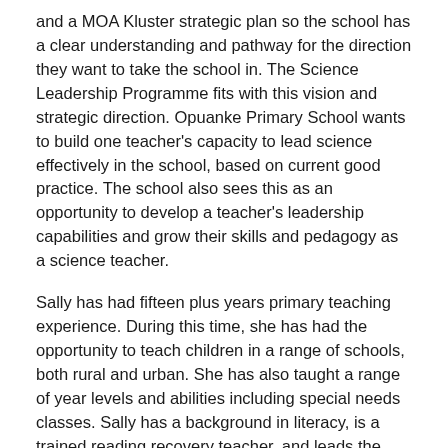and a MOA Kluster strategic plan so the school has a clear understanding and pathway for the direction they want to take the school in. The Science Leadership Programme fits with this vision and strategic direction. Opuanke Primary School wants to build one teacher's capacity to lead science effectively in the school, based on current good practice. The school also sees this as an opportunity to develop a teacher's leadership capabilities and grow their skills and pedagogy as a science teacher.
Sally has had fifteen plus years primary teaching experience. During this time, she has had the opportunity to teach children in a range of schools, both rural and urban. She has also taught a range of year levels and abilities including special needs classes. Sally has a background in literacy, is a trained reading recovery teacher, and leads the phonics programme at Opunake Primary School. She is looking forward to providing the literacy and language skills needed for children to successfully engage in science and to access a wonderful science curriculum.
Sally has been hosted by Dr Mike Dickison, Curator of Natural History, at the Whanganui Regional Museum. Her placement